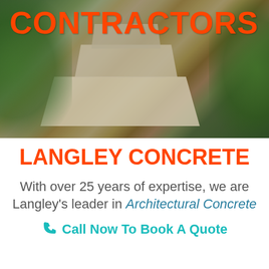[Figure (photo): Outdoor concrete patio steps with foliage/plants on left and right sides, semi-dark overlay, viewed from above]
CONTRACTORS
LANGLEY CONCRETE
With over 25 years of expertise, we are Langley's leader in Architectural Concrete
Call Now To Book A Quote